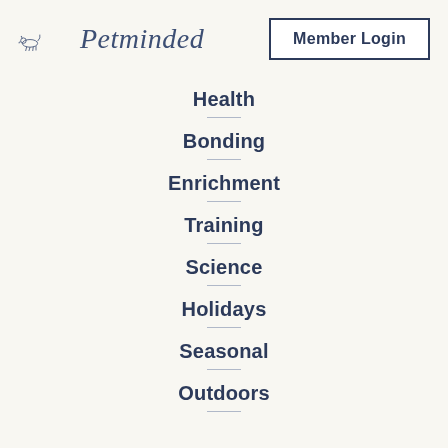[Figure (logo): Petminded logo with illustrated dogs and cursive text]
Health
Bonding
Enrichment
Training
Science
Holidays
Seasonal
Outdoors